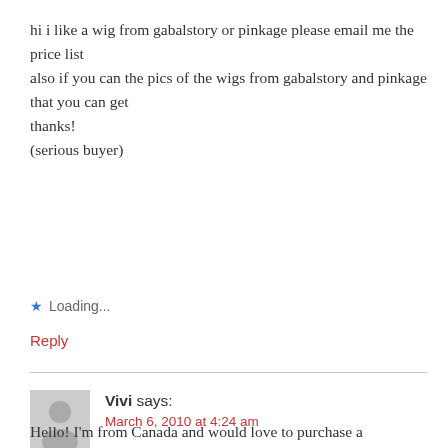hi i like a wig from gabalstory or pinkage please email me the price list
also if you can the pics of the wigs from gabalstory and pinkage that you can get
thanks!
(serious buyer)
★ Loading...
Reply
Vivi says:
March 6, 2010 at 4:24 am
Hello! I'm from Canada and would love to purchase a